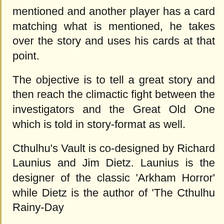mentioned and another player has a card matching what is mentioned, he takes over the story and uses his cards at that point.
The objective is to tell a great story and then reach the climactic fight between the investigators and the Great Old One which is told in story-format as well.
Cthulhu's Vault is co-designed by Richard Launius and Jim Dietz. Launius is the designer of the classic 'Arkham Horror' while Dietz is the author of 'The Cthulhu Rainy-Day